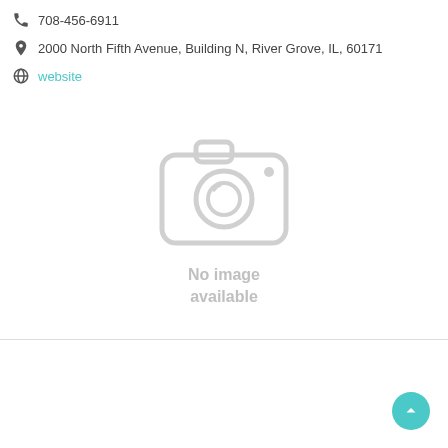708-456-6911
2000 North Fifth Avenue, Building N, River Grove, IL, 60171
website
[Figure (illustration): Placeholder camera icon indicating no image available, with text 'No image available' below it]